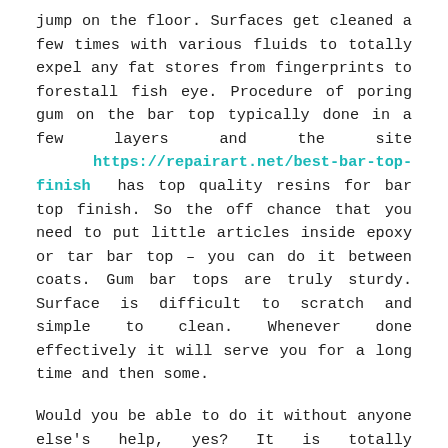jump on the floor. Surfaces get cleaned a few times with various fluids to totally expel any fat stores from fingerprints to forestall fish eye. Procedure of poring gum on the bar top typically done in a few layers and the site https://repairart.net/best-bar-top-finish has top quality resins for bar top finish. So the off chance that you need to put little articles inside epoxy or tar bar top – you can do it between coats. Gum bar tops are truly sturdy. Surface is difficult to scratch and simple to clean. Whenever done effectively it will serve you for a long time and then some.
Would you be able to do it without anyone else's help, yes? It is totally imperative to discover epoxy provider who work with epoxy as well as ready to give you headings on the best way to work with item and ready to control you through the procedure. A huge number of hues and horde styles are accessible, and it is simply an issue of picking the example most appropriate for your motivations. Epoxy requires restoring time of in any event twelve hours after application. It is a simple to introduce and simple to keep up